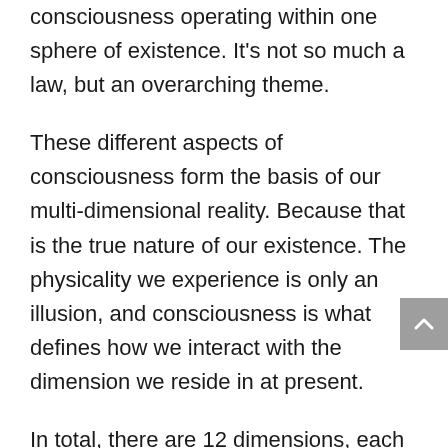consciousness operating within one sphere of existence. It's not so much a law, but an overarching theme.
These different aspects of consciousness form the basis of our multi-dimensional reality. Because that is the true nature of our existence. The physicality we experience is only an illusion, and consciousness is what defines how we interact with the dimension we reside in at present.
In total, there are 12 dimensions, each with their own unique characteristics. They exist as levels for us to ascend to by raising our vibration to become a match for the frequency